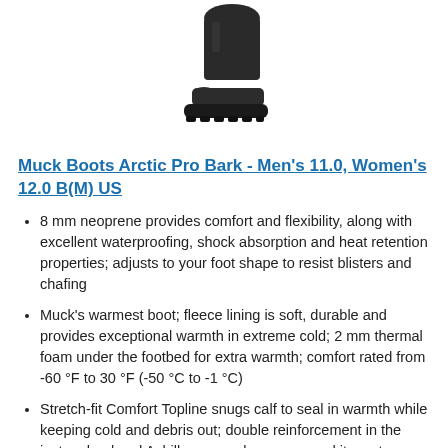[Figure (photo): Photo of a dark brown/black Muck Boot Arctic Pro Bark boot, shown from the side at an angle, with a heavy rubber sole.]
Muck Boots Arctic Pro Bark - Men's 11.0, Women's 12.0 B(M) US
8 mm neoprene provides comfort and flexibility, along with excellent waterproofing, shock absorption and heat retention properties; adjusts to your foot shape to resist blisters and chafing
Muck's warmest boot; fleece lining is soft, durable and provides exceptional warmth in extreme cold; 2 mm thermal foam under the footbed for extra warmth; comfort rated from -60 °F to 30 °F (-50 °C to -1 °C)
Stretch-fit Comfort Topline snugs calf to seal in warmth while keeping cold and debris out; double reinforcement in the instep, heel and Achilles area where you need it most